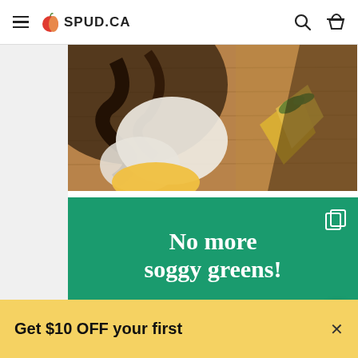SPUD.CA
[Figure (photo): Close-up food photo showing cheese, dark sauce or balsamic, and fruit/vegetables on a wooden board]
[Figure (infographic): Green promotional banner with white text reading 'No more soggy greens!' with a decorative underline and copy icon]
Get $10 OFF your first